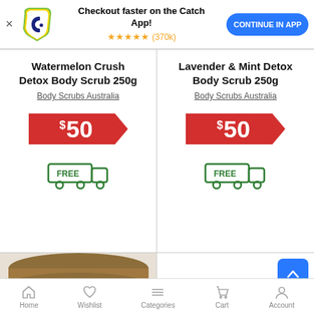Checkout faster on the Catch App! ★★★★★ (370k) CONTINUE IN APP
Watermelon Crush Detox Body Scrub 250g
Body Scrubs Australia
$50
[Figure (illustration): Free delivery truck icon with FREE text]
Lavender & Mint Detox Body Scrub 250g
Body Scrubs Australia
$50
[Figure (illustration): Free delivery truck icon with FREE text]
[Figure (photo): Jar of Vanilla & something body scrub with wooden lid, partially visible]
Home  Wishlist  Categories  Cart  Account